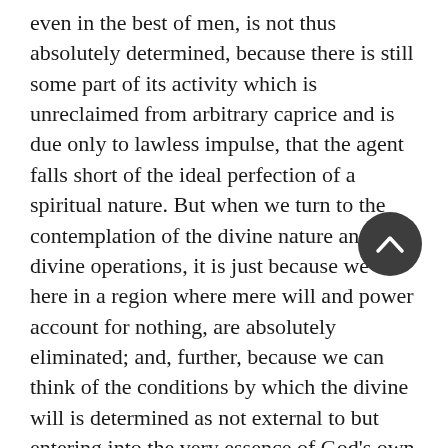even in the best of men, is not thus absolutely determined, because there is still some part of its activity which is unreclaimed from arbitrary caprice and is due only to lawless impulse, that the agent falls short of the ideal perfection of a spiritual nature. But when we turn to the contemplation of the divine nature and divine operations, it is just because we are here in a region where mere will and power account for nothing, are absolutely eliminated; and, further, because we can think of the conditions by which the divine will is determined as not external to but entering into the very essence of God's own nature, that we can ascribe to Him alone the character of absolute spiritual perfection.
Now the Deistic conception of the relation of God to the world, whether as Creator or as Ruler and Governor, is one which rests essentially on the notion